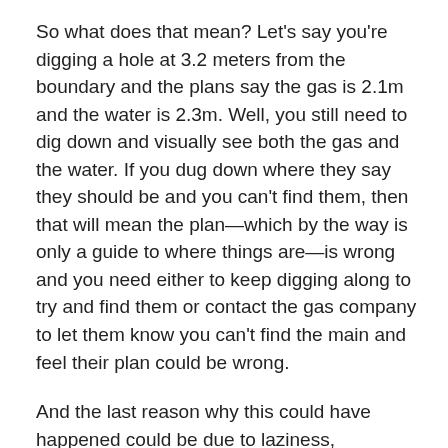So what does that mean? Let's say you're digging a hole at 3.2 meters from the boundary and the plans say the gas is 2.1m and the water is 2.3m. Well, you still need to dig down and visually see both the gas and the water. If you dug down where they say they should be and you can't find them, then that will mean the plan—which by the way is only a guide to where things are—is wrong and you need either to keep digging along to try and find them or contact the gas company to let them know you can't find the main and feel their plan could be wrong.
And the last reason why this could have happened could be due to laziness, ignorance, or just stupidity. In 2016, none of these is a good enough excuse.
Am I wrong? Why do you think the gas pipe was hit?